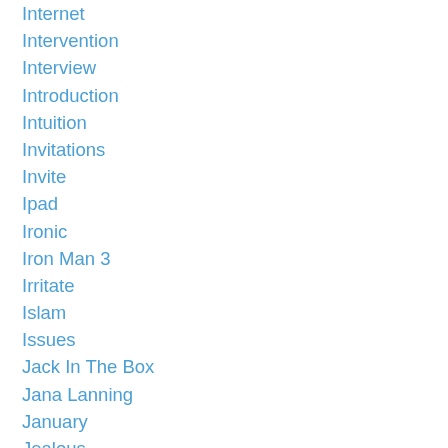Internet
Intervention
Interview
Introduction
Intuition
Invitations
Invite
Ipad
Ironic
Iron Man 3
Irritate
Islam
Issues
Jack In The Box
Jana Lanning
January
Jealous
Jealousy
Jerk
Jesus
Jesus Sacrificef62d61ad05